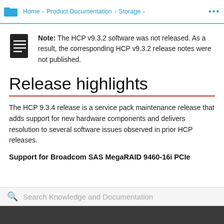Home > Product Documentation > Storage > ...
Note: The HCP v9.3.2 software was not released. As a result, the corresponding HCP v9.3.2 release notes were not published.
Release highlights
The HCP 9.3.4 release is a service pack maintenance release that adds support for new hardware components and delivers resolution to several software issues observed in prior HCP releases.
Support for Broadcom SAS MegaRAID 9460-16i PCIe